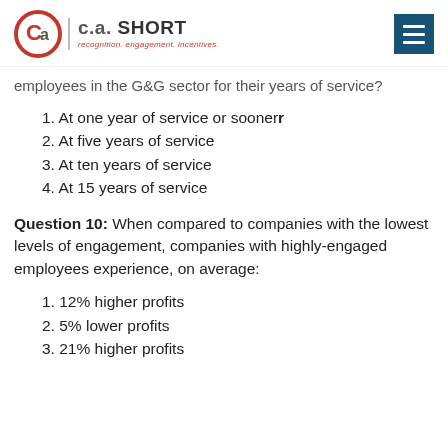C.A. SHORT — recognition. engagement. incentives.
employees in the G&G sector for their years of service?
1. At one year of service or sooner
2. At five years of service
3. At ten years of service
4. At 15 years of service
Question 10: When compared to companies with the lowest levels of engagement, companies with highly-engaged employees experience, on average:
1. 12% higher profits
2. 5% lower profits
3. 21% higher profits